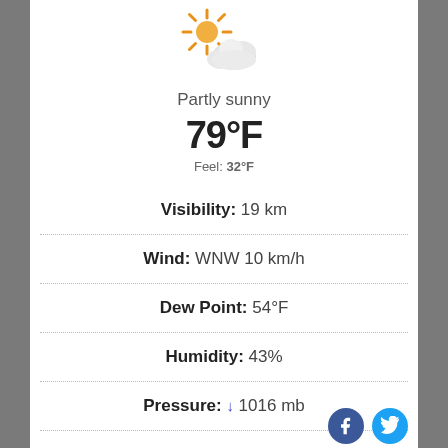[Figure (illustration): Partly sunny weather icon: sun with rays (orange) partially behind a cloud (light gray)]
Partly sunny
79°F
Feel: 32°F
Visibility: 19 km
Wind: WNW 10 km/h
Dew Point: 54°F
Humidity: 43%
Pressure: ↓ 1016 mb
Cloud Cover: 37%